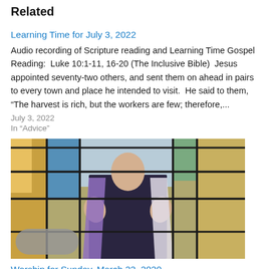Related
Learning Time for July 3, 2022
Audio recording of Scripture reading and Learning Time Gospel Reading:  Luke 10:1-11, 16-20 (The Inclusive Bible)  Jesus appointed seventy-two others, and sent them on ahead in pairs to every town and place he intended to visit.  He said to them, “The harvest is rich, but the workers are few; therefore,...
July 3, 2022
In "Advice"
[Figure (photo): Stained glass window depicting a robed figure with outstretched hands, with colored glass panels in blue, purple, green, and amber tones.]
Worship for Sunday, March 22, 2020